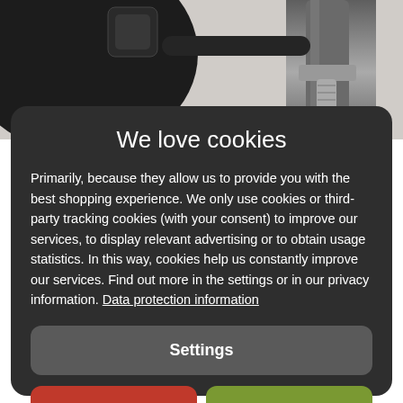[Figure (photo): Partial view of black camera or optical equipment with metal screw/bolt hardware, on white background]
We love cookies
Primarily, because they allow us to provide you with the best shopping experience. We only use cookies or third-party tracking cookies (with your consent) to improve our services, to display relevant advertising or to obtain usage statistics. In this way, cookies help us constantly improve our services. Find out more in the settings or in our privacy information. Data protection information
Settings
Reject all
Accept all